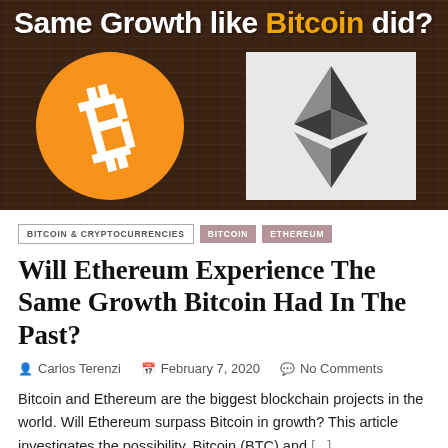[Figure (illustration): Hero banner image with dark wood texture background. Text reads 'Same Growth like Bitcoin did?' with 'Bitcoin' in gold/yellow. Left side shows Bitcoin orange circle logo with white ₿ symbol. Right side shows Ethereum diamond logo on light grey background.]
BITCOIN & CRYPTOCURRENCIES
BITCOIN
ETHEREUM
Will Ethereum Experience The Same Growth Bitcoin Had In The Past?
Carlos Terenzi   February 7, 2020   No Comments
Bitcoin and Ethereum are the biggest blockchain projects in the world. Will Ethereum surpass Bitcoin in growth? This article investigates the possibility. Bitcoin (BTC) and [...]